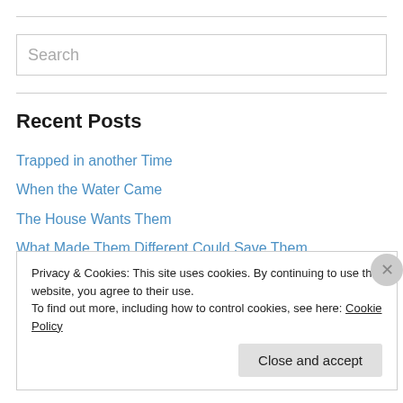[Figure (other): Search input box with placeholder text 'Search']
Recent Posts
Trapped in another Time
When the Water Came
The House Wants Them
What Made Them Different Could Save Them
Counting Words
Privacy & Cookies: This site uses cookies. By continuing to use this website, you agree to their use.
To find out more, including how to control cookies, see here: Cookie Policy
Close and accept